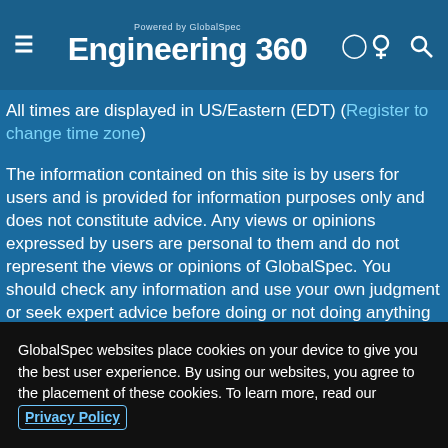Powered by GlobalSpec Engineering 360
All times are displayed in US/Eastern (EDT) (Register to change time zone)
The information contained on this site is by users for users and is provided for information purposes only and does not constitute advice. Any views or opinions expressed by users are personal to them and do not represent the views or opinions of GlobalSpec. You should check any information and use your own judgment or seek expert advice before doing or not doing anything on the basis of what you read here. GlobalSpec does not verify or warrant the accuracy or completeness of any information on this site and, to the extent permitted by law, GlobalSpec shall not be liable for any loss...
GlobalSpec websites place cookies on your device to give you the best user experience. By using our websites, you agree to the placement of these cookies. To learn more, read our Privacy Policy